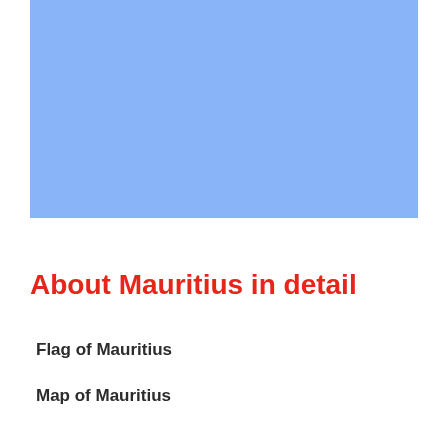[Figure (other): Solid light blue rectangle representing a placeholder image (likely a map or flag image)]
About Mauritius in detail
Flag of Mauritius
Map of Mauritius